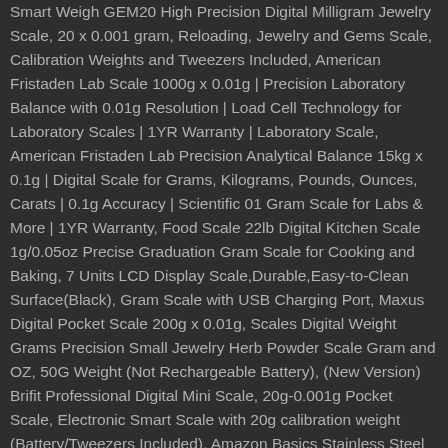Smart Weigh GEM20 High Precision Digital Milligram Jewelry Scale, 20 x 0.001 gram, Reloading, Jewelry and Gems Scale, Calibration Weights and Tweezers Included, American Fristaden Lab Scale 1000g x 0.01g | Precision Laboratory Balance with 0.01g Resolution | Load Cell Technology for Laboratory Scales | 1YR Warranty | Laboratory Scale, American Fristaden Lab Precision Analytical Balance 15kg x 0.1g | Digital Scale for Grams, Kilograms, Pounds, Ounces, Carats | 0.1g Accuracy | Scientific 01 Gram Scale for Labs & More | 1YR Warranty, Food Scale 22lb Digital Kitchen Scale 1g/0.05oz Precise Graduation Gram Scale for Cooking and Baking, 7 Units LCD Display Scale,Durable,Easy-to-Clean Surface(Black), Gram Scale with USB Charging Port, Maxus Digital Pocket Scale 200g x 0.01g, Scales Digital Weight Grams Precision Small Jewelry Herb Powder Scale Gram and OZ, 50G Weight (Not Rechargeable Battery), (New Version) Brifit Professional Digital Mini Scale, 20g-0.001g Pocket Scale, Electronic Smart Scale with 20g calibration weight (Battery/Tweezers Included), Amazon Basics Stainless Steel Digital Kitchen Scale with LCD Display, Batteries Included, TBBSC Jewelry Scale,High Precision Digital Pocket Scale Gram 300g/0.01g Reloading, JamBer Digital Milligram Pocket Scales 0.001g x 50g, Electronic Weighing Scales for Jewelry